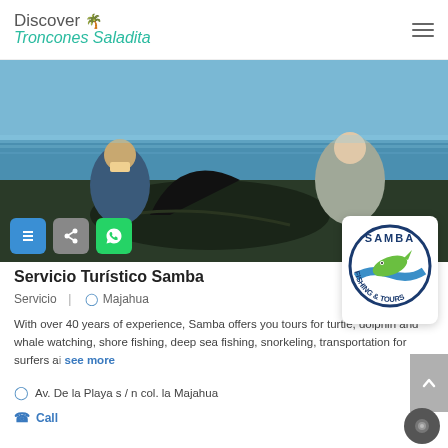Discover Troncones Saladita
[Figure (photo): Two men on a boat holding a large sailfish over the ocean water]
[Figure (logo): Samba Fishing & Tours circular logo with a mahi-mahi fish jumping over blue wave]
Servicio Turístico Samba
Servicio | Majahua
With over 40 years of experience, Samba offers you tours for turtle, dolphin and whale watching, shore fishing, deep sea fishing, snorkeling, transportation for surfers a... see more
Av. De la Playa s / n col. la Majahua
Call